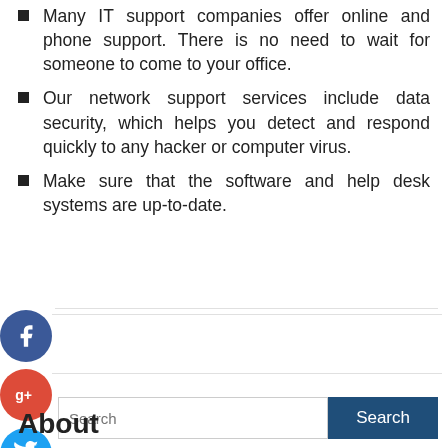Many IT support companies offer online and phone support. There is no need to wait for someone to come to your office.
Our network support services include data security, which helps you detect and respond quickly to any hacker or computer virus.
Make sure that the software and help desk systems are up-to-date.
[Figure (infographic): Social media sharing icons: Facebook (blue circle with f), Google+ (red circle with g+), Twitter (cyan circle with bird), and a dark plus/add icon]
Search
About